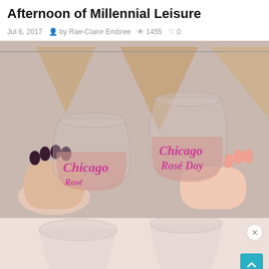Afternoon of Millennial Leisure
Jul 6, 2017  by Rae-Claire Embree  1455  0
[Figure (photo): Two hands holding stemless wine glasses filled with rosé wine, with pink script text reading 'Chicago' and 'Chicago Rosé Day' on the glasses. Burlap pennant bunting visible in the background.]
[Figure (photo): Partial bottom view of the same wine glasses on a light pink/white background, partially visible with a close button (X) and a teal scroll-to-top arrow button.]